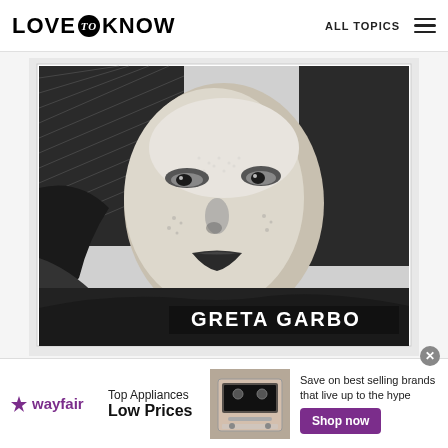LOVE to KNOW — ALL TOPICS
[Figure (illustration): Black and white engraving-style halftone portrait illustration of Greta Garbo, showing face and hair with dramatic shadowing. Text 'GRETA GARBO' appears at the bottom of the image.]
There have been other significant collaborations
[Figure (other): Wayfair advertisement banner featuring the Wayfair logo, text 'Top Appliances Low Prices', an image of kitchen appliances/range, tagline 'Save on best selling brands that live up to the hype', and a purple 'Shop now' button.]